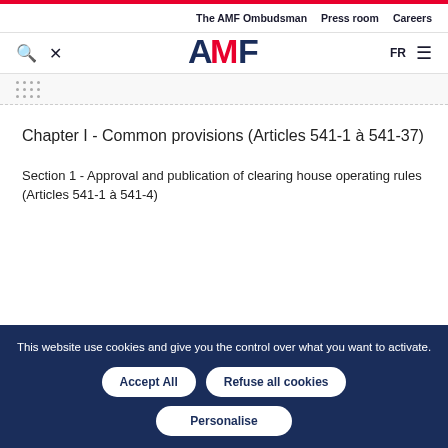The AMF Ombudsman  Press room  Careers
[Figure (logo): AMF logo with red M]
Chapter I - Common provisions (Articles 541-1 à 541-37)
Section 1 - Approval and publication of clearing house operating rules (Articles 541-1 à 541-4)
This website use cookies and give you the control over what you want to activate.
Accept All  Refuse all cookies  Personalise